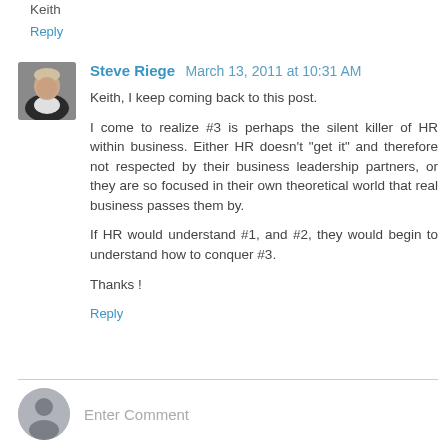Keith
Reply
Steve Riege  March 13, 2011 at 10:31 AM
Keith, I keep coming back to this post.
I come to realize #3 is perhaps the silent killer of HR within business. Either HR doesn't "get it" and therefore not respected by their business leadership partners, or they are so focused in their own theoretical world that real business passes them by.
If HR would understand #1, and #2, they would begin to understand how to conquer #3.
Thanks !
Reply
Enter Comment